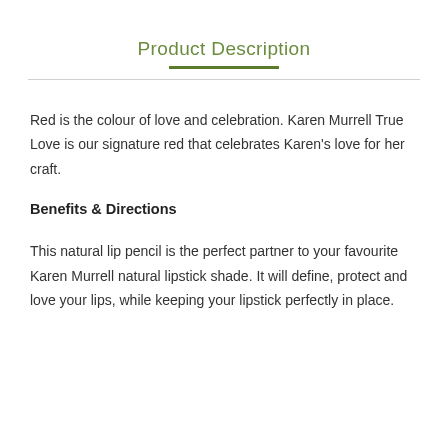Product Description
Red is the colour of love and celebration. Karen Murrell True Love is our signature red that celebrates Karen's love for her craft.
Benefits & Directions
This natural lip pencil is the perfect partner to your favourite Karen Murrell natural lipstick shade. It will define, protect and love your lips, while keeping your lipstick perfectly in place.